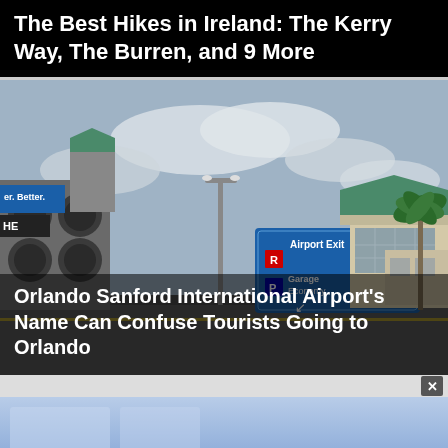The Best Hikes in Ireland: The Kerry Way, The Burren, and 9 More
[Figure (photo): Orlando Sanford International Airport exterior with blue directional sign showing Airport Exit R and Garage Economy P, parking structure on left, terminal building in center-right, palm tree on far right, overcast sky]
Orlando Sanford International Airport's Name Can Confuse Tourists Going to Orlando
[Figure (screenshot): Bottom partial view of a blue-toned website or video preview panel with a close (X) button in the top right corner]